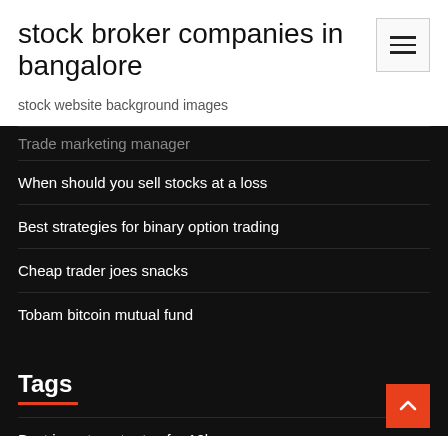stock broker companies in bangalore
stock website background images
Trade marketing manager
When should you sell stocks at a loss
Best strategies for binary option trading
Cheap trader joes snacks
Tobam bitcoin mutual fund
Tags
Best investment rates for 10k
Brent oil investing forum